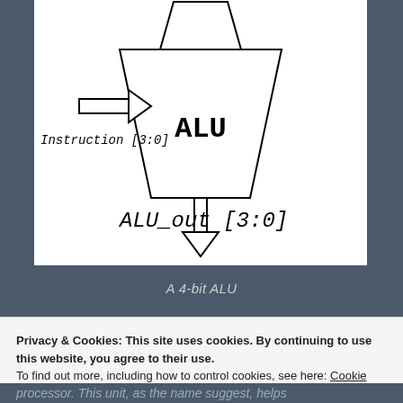[Figure (schematic): A 4-bit ALU schematic diagram showing a trapezoidal ALU block with an arrow labeled 'Instruction [3:0]' pointing into the left side, an input bus at the top, and a downward arrow at the bottom labeled 'ALU_out [3:0]'.]
A 4-bit ALU
Privacy & Cookies: This site uses cookies. By continuing to use this website, you agree to their use.
To find out more, including how to control cookies, see here: Cookie Policy
processor. This unit, as the name suggest, helps